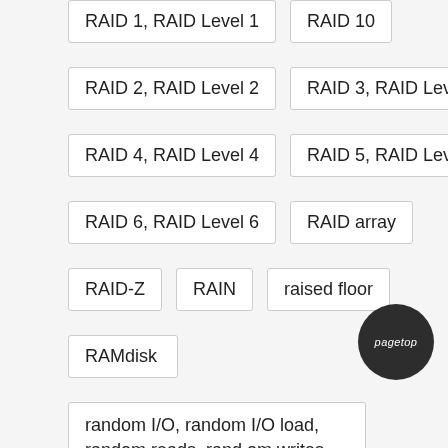RAID 1, RAID Level 1
RAID 10
RAID 2, RAID Level 2
RAID 3, RAID Level 3
RAID 4, RAID Level 4
RAID 5, RAID Level 5
RAID 6, RAID Level 6
RAID array
RAID-Z
RAIN
raised floor
RAMdisk
random I/O, random I/O load, random reads, random writes
random number
random relative offset